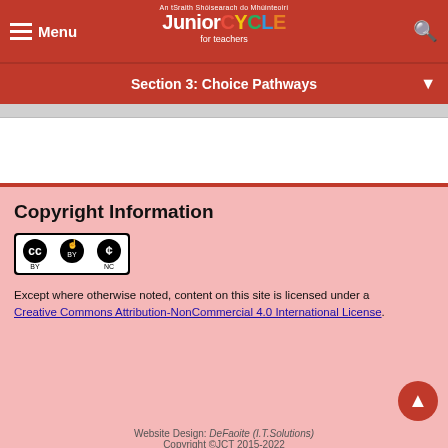Menu | Junior CYCLE for teachers
Section 3: Choice Pathways
Copyright Information
[Figure (logo): Creative Commons CC BY NC license badge]
Except where otherwise noted, content on this site is licensed under a Creative Commons Attribution-NonCommercial 4.0 International License.
Website Design: DeFaoite (I.T.Solutions)
Copyright ©JCT 2015-2022